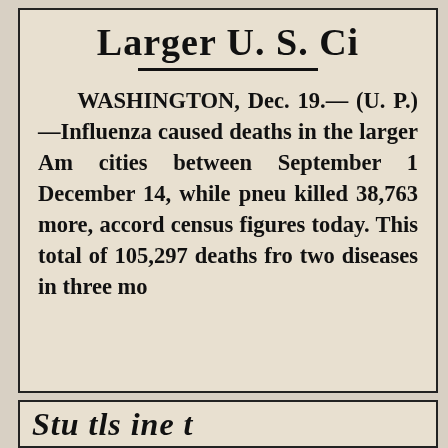Larger U. S. Ci
WASHINGTON, Dec. 19. (U. P.)—Influenza caused deaths in the larger Am cities between September 1 December 14, while pneu killed 38,763 more, accord census figures today. This total of 105,297 deaths fro two diseases in three mo